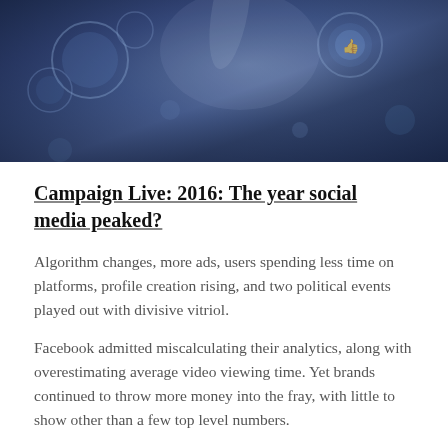[Figure (photo): Dark blue-toned photo of a hand pointing at or touching glowing digital social media icons/circles on a virtual interface, technology/social media themed]
Campaign Live: 2016: The year social media peaked?
Algorithm changes, more ads, users spending less time on platforms, profile creation rising, and two political events played out with divisive vitriol.
Facebook admitted miscalculating their analytics, along with overestimating average video viewing time. Yet brands continued to throw more money into the fray, with little to show other than a few top level numbers.